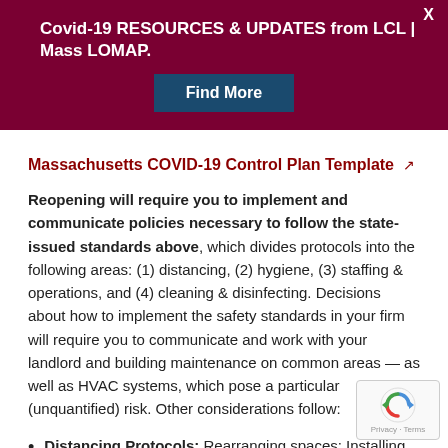Covid-19 RESOURCES & UPDATES from LCL | Mass LOMAP.
Massachusetts COVID-19 Control Plan Template
Reopening will require you to implement and communicate policies necessary to follow the state-issued standards above, which divides protocols into the following areas: (1) distancing, (2) hygiene, (3) staffing & operations, and (4) cleaning & disinfecting. Decisions about how to implement the safety standards in your firm will require you to communicate and work with your landlord and building maintenance on common areas — as well as HVAC systems, which pose a particular (unquantified) risk. Other considerations follow:
Distancing Protocols: Rearranging spaces; Installing partitions; Distance markers; Traffic
[Figure (other): reCAPTCHA privacy badge with circular arrow icon]